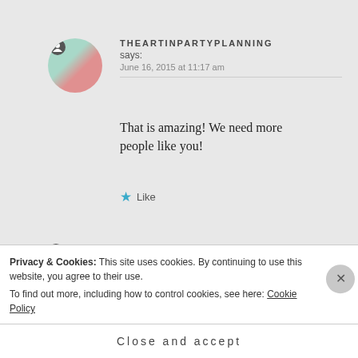[Figure (photo): Round avatar photo for theartinpartyplanning showing colorful flowers/cupcakes]
THEARTINPARTYPLANNING says:
June 16, 2015 at 11:17 am
That is amazing! We need more people like you!
Like
[Figure (photo): Round avatar photo for chefconnie]
CHEFCONNIE says:
Privacy & Cookies: This site uses cookies. By continuing to use this website, you agree to their use.
To find out more, including how to control cookies, see here: Cookie Policy
Close and accept